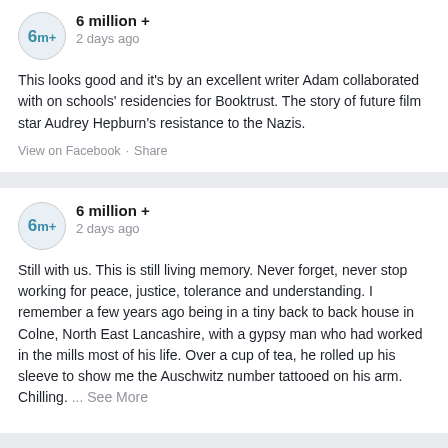6 million + · 2 days ago
This looks good and it's by an excellent writer Adam collaborated with on schools' residencies for Booktrust. The story of future film star Audrey Hepburn's resistance to the Nazis.
View on Facebook · Share
6 million + · 2 days ago
Still with us. This is still living memory. Never forget, never stop working for peace, justice, tolerance and understanding. I remember a few years ago being in a tiny back to back house in Colne, North East Lancashire, with a gypsy man who had worked in the mills most of his life. Over a cup of tea, he rolled up his sleeve to show me the Auschwitz number tattooed on his arm. Chilling. ... See More